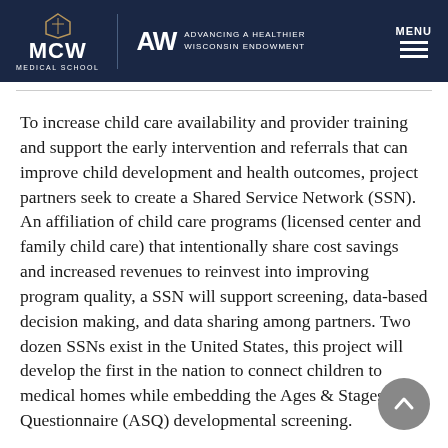MCW Medical School | Advancing a Healthier Wisconsin Endowment | MENU
To increase child care availability and provider training and support the early intervention and referrals that can improve child development and health outcomes, project partners seek to create a Shared Service Network (SSN). An affiliation of child care programs (licensed center and family child care) that intentionally share cost savings and increased revenues to reinvest into improving program quality, a SSN will support screening, data-based decision making, and data sharing among partners. Two dozen SSNs exist in the United States, this project will develop the first in the nation to connect children to medical homes while embedding the Ages & Stages Questionnaire (ASQ) developmental screening.